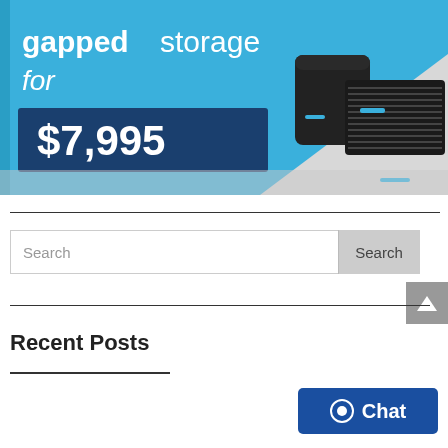[Figure (illustration): Promotional banner for air-gapped storage priced at $7,995. Blue and gray background with two black storage device units on the right. Text reads 'gapped storage for $7,995'.]
Search
Recent Posts